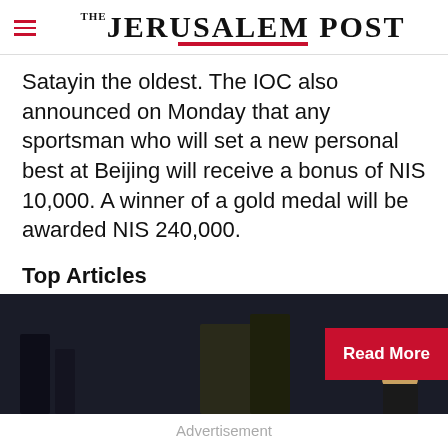THE JERUSALEM POST
Satayin the oldest. The IOC also announced on Monday that any sportsman who will set a new personal best at Beijing will receive a bonus of NIS 10,000. A winner of a gold medal will be awarded NIS 240,000.
Top Articles
[Figure (photo): Dark photograph of people, with a red 'Read More' button overlay on the right side.]
Advertisement